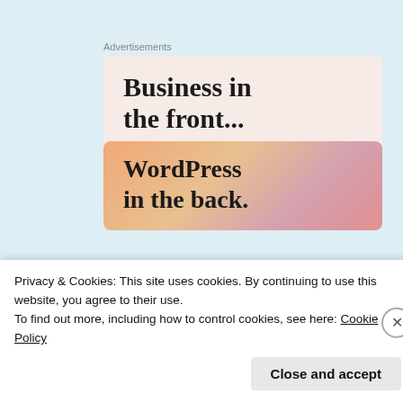[Figure (infographic): WordPress advertisement banner. Top section on pinkish background reads 'Business in the front...' and bottom section on orange/pink gradient reads 'WordPress in the back.' with label 'Advertisements' above.]
Privacy & Cookies: This site uses cookies. By continuing to use this website, you agree to their use.
To find out more, including how to control cookies, see here: Cookie Policy
Close and accept